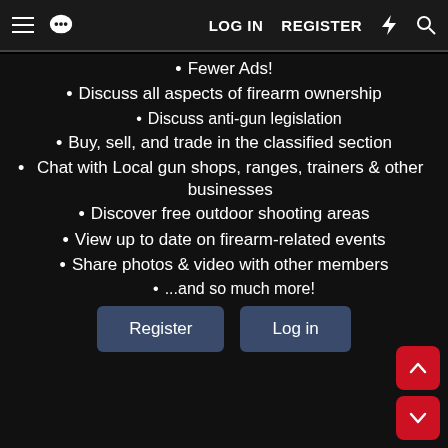≡  [chat] LOG IN  REGISTER  ⚡  🔍
Fewer Ads!
Discuss all aspects of firearm ownership
Discuss anti-gun legislation
Buy, sell, and trade in the classified section
Chat with Local gun shops, ranges, trainers & other businesses
Discover free outdoor shooting areas
View up to date on firearm-related events
Share photos & video with other members
...and so much more!
Register  Log in